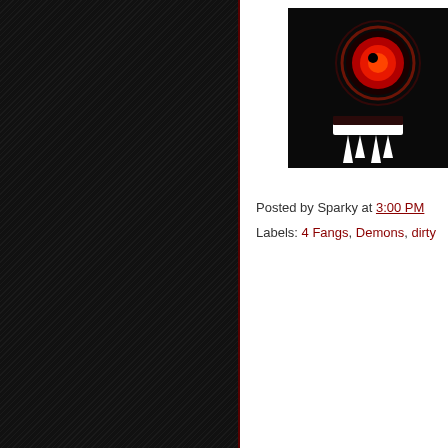[Figure (illustration): Black background image with a red glowing eye and white vampire fangs, partially cropped at top-right corner of the page]
Posted by Sparky at 3:00 PM
Labels: 4 Fangs, Demons, dirty